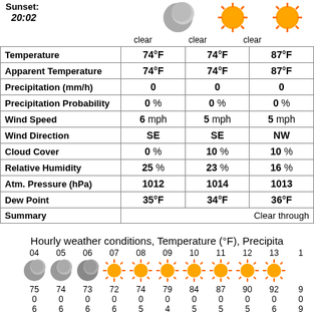Sunset: 20:02
|  | clear | clear | clear |
| --- | --- | --- | --- |
| Temperature | 74°F | 74°F | 87°F |
| Apparent Temperature | 74°F | 74°F | 87°F |
| Precipitation (mm/h) | 0 | 0 | 0 |
| Precipitation Probability | 0 % | 0 % | 0 % |
| Wind Speed | 6 mph | 5 mph | 5 mph |
| Wind Direction | SE | SE | NW |
| Cloud Cover | 0 % | 10 % | 10 % |
| Relative Humidity | 25 % | 23 % | 16 % |
| Atm. Pressure (hPa) | 1012 | 1014 | 1013 |
| Dew Point | 35°F | 34°F | 36°F |
| Summary |  |  | Clear through |
Hourly weather conditions, Temperature (°F), Precipita
[Figure (infographic): Hourly weather icons row showing moon/sun icons for hours 04-13, with temperature values 75,74,73,72,74,79,84,87,90,92, precipitation 0s, and wind speeds 6,6,6,6,5,4,5,5,5,6]